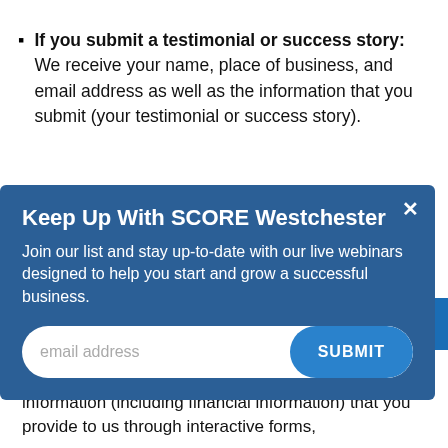If you submit a testimonial or success story:  We receive your name, place of business, and email address as well as the information that you submit (your testimonial or success story).
[Figure (infographic): Popup overlay with dark blue background. Title: 'Keep Up With SCORE Westchester'. Body text: 'Join our list and stay up-to-date with our live webinars designed to help you start and grow a successful business.' Email input field with SUBMIT button. Close X button in top right.]
forms including personally identifiable information: We collect all personal and business information (including financial information) that you provide to us through interactive forms,